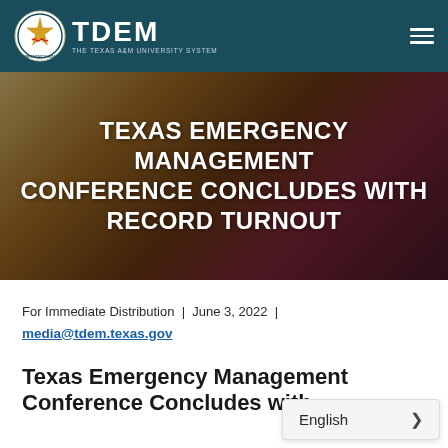TDEM – The Texas A&M University System
TEXAS EMERGENCY MANAGEMENT CONFERENCE CONCLUDES WITH RECORD TURNOUT
[Figure (photo): Blurred background photo showing warm golden and dark red tones, possibly papers or flags, serving as the hero image behind the main title text.]
For Immediate Distribution | June 3, 2022 | media@tdem.texas.gov
Texas Emergency Management Conference Concludes with